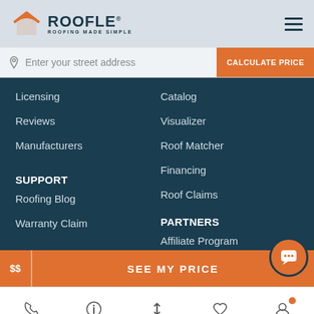ROOFLE — ROOFING MADE SIMPLE
Enter your street address | CALCULATE PRICE
Licensing
Reviews
Manufacturers
Catalog
Visualizer
Roof Matcher
Financing
Roof Claims
SUPPORT
PARTNERS
Roofing Blog
Warranty Claim
Affiliate Program
Trade Partners
$$ | SEE MY PRICE
Phone | Info | Sort | Favorites | Account